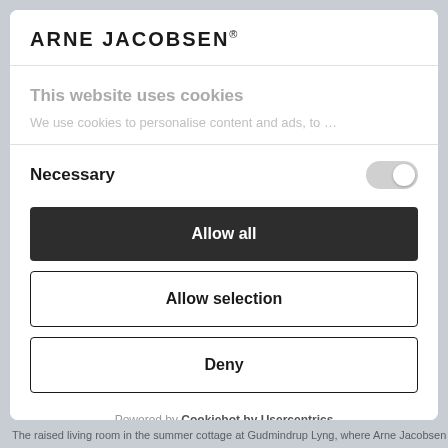ARNE JACOBSEN®
This website uses cookies
We use cookies to personalise content and ads, to
Necessary
Allow all
Allow selection
Deny
Powered by Cookiebot by Usercentrics
The raised living room in the summer cottage at Gudmindrup Lyng, where Arne Jacobsen